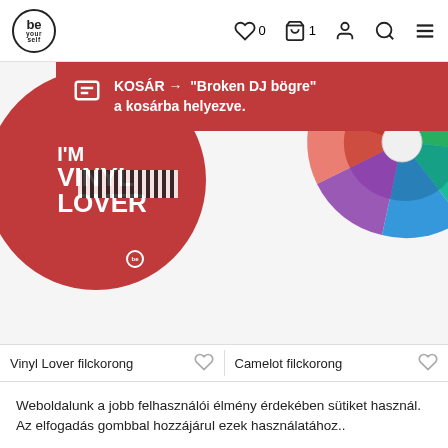be yourself — 0 ♡  1 🛒  👤 🔍 ≡
[Figure (screenshot): Red notification banner: KOSÁR → "Broken DJ bögre" a kosárba helyezve. with a chat icon on left]
[Figure (photo): Vinyl Lover circular red felt disc product on left, Camelot Wheel felt disc (colorful) on right]
Vinyl Lover filckorong
Camelot filckorong
Weboldalunk a jobb felhasználói élmény érdekében sütiket használ. Az elfogadás gombbal hozzájárul ezek használatához..
ELFOGADOM